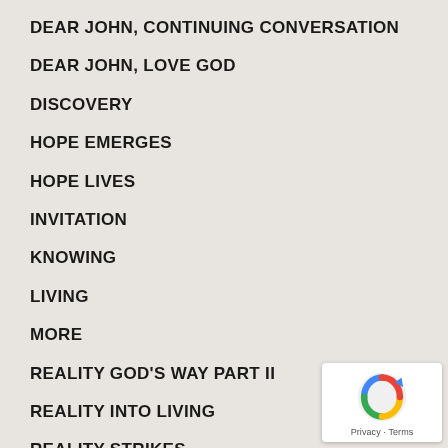DEAR JOHN, CONTINUING CONVERSATION
DEAR JOHN, LOVE GOD
DISCOVERY
HOPE EMERGES
HOPE LIVES
INVITATION
KNOWING
LIVING
MORE
REALITY GOD'S WAY PART II
REALITY INTO LIVING
REALITY STRIKES
[Figure (logo): reCAPTCHA badge with blue arrow icon and Privacy · Terms text]